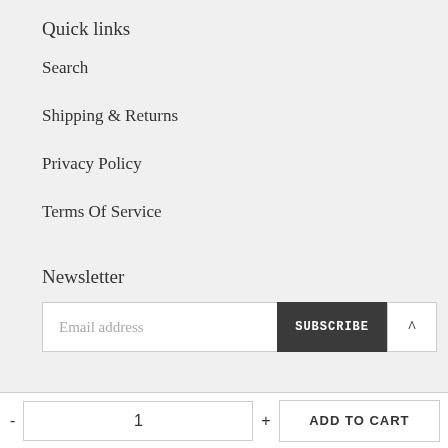Quick links
Search
Shipping & Returns
Privacy Policy
Terms Of Service
Newsletter
Email address
SUBSCRIBE
1
ADD TO CART